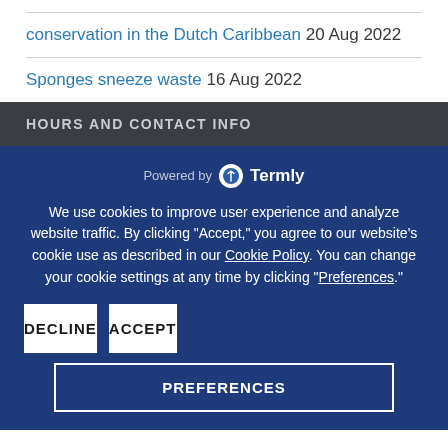conservation in the Dutch Caribbean 20 Aug 2022
Sponges sneeze waste 16 Aug 2022
HOURS AND CONTACT INFO
[Figure (logo): Powered by Termly logo]
We use cookies to improve user experience and analyze website traffic. By clicking "Accept," you agree to our website's cookie use as described in our Cookie Policy. You can change your cookie settings at any time by clicking "Preferences."
DECLINE
ACCEPT
PREFERENCES